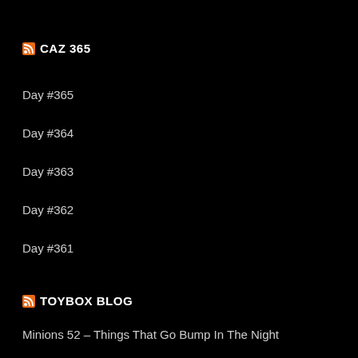CAZ 365
Day #365
Day #364
Day #363
Day #362
Day #361
TOYBOX BLOG
Minions 52 – Things That Go Bump In The Night
Minions 52 – Not Doing Lines
Minions 52 – Big Yellow Brick